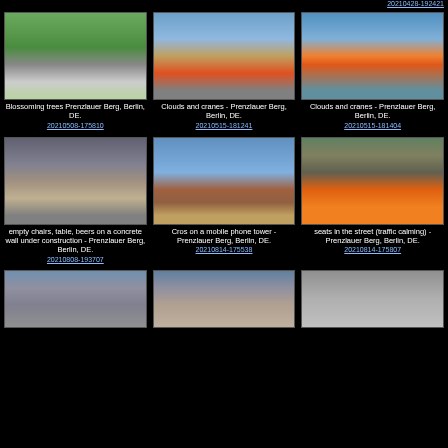20210428-192421
[Figure (photo): Blossoming trees in a park, Prenzlauer Berg, Berlin]
Blossoming trees Prenzlauer Berg, Berlin, DE.
20210508-175810
[Figure (photo): Construction cranes against blue sky, Prenzlauer Berg, Berlin]
Clouds and cranes - Prenzlauer Berg, Berlin, DE.
20210515-181241
[Figure (photo): Construction cranes with orange and yellow building, Prenzlauer Berg, Berlin]
Clouds and cranes - Prenzlauer Berg, Berlin, DE.
20210515-181404
[Figure (photo): Empty chairs, table, beers on a concrete wall under construction, Prenzlauer Berg]
empty chairs, table, beers on a concrete wall under construction - Prenzlauer Berg, Berlin, DE.
20210808-193707
[Figure (photo): Cross on a mobile phone tower, rooftop, Prenzlauer Berg, Berlin]
Cros on a mobile phone tower - Prenzlauer Berg, Berlin, DE.
20210814-175538
[Figure (photo): Orange traffic calming seats in the street, Prenzlauer Berg, Berlin]
seats in the street (traffic calming) - Prenzlauer Berg, Berlin, DE.
20210814-175807
[Figure (photo): Building facade with tower, Prenzlauer Berg, Berlin]
[Figure (photo): Building exterior, Prenzlauer Berg, Berlin]
[Figure (photo): Grey surface or pavement, Prenzlauer Berg, Berlin]